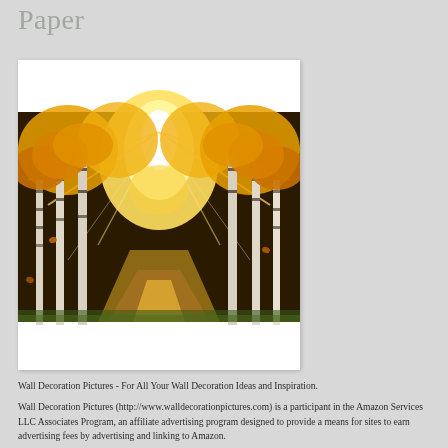Paper
[Figure (photo): Autumn forest path painting with golden birch trees and sunbeams streaming through the canopy onto a winding path]
Wall Decoration Pictures - For All Your Wall Decoration Ideas and Inspiration.
Wall Decoration Pictures (http://www.walldecorationpictures.com) is a participant in the Amazon Services LLC Associates Program, an affiliate advertising program designed to provide a means for sites to earn advertising fees by advertising and linking to Amazon.